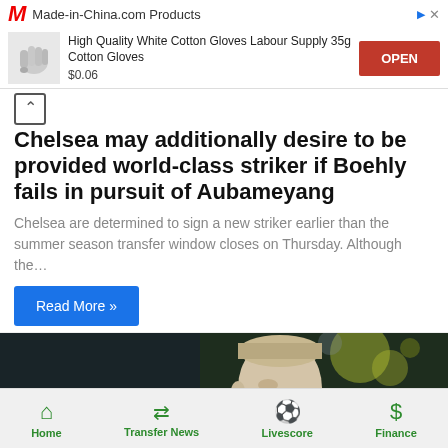[Figure (screenshot): Made-in-China.com advertisement banner showing logo, product title 'High Quality White Cotton Gloves Labour Supply 35g Cotton Gloves', price $0.06, and OPEN button]
Chelsea may additionally desire to be provided world-class striker if Boehly fails in pursuit of Aubameyang
Chelsea are determined to sign a new striker earlier than the summer season transfer window closes on Thursday. Although the…
Read More »
[Figure (photo): Photo of a football player with short blonde hair, dark blurred stadium background with bokeh lights]
Home   Transfer News   Livescore   Finance